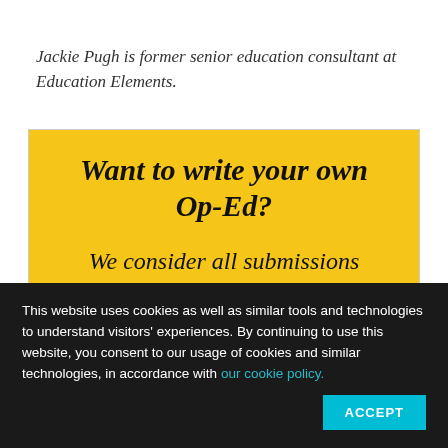Jackie Pugh is former senior education consultant at Education Elements.
[Figure (infographic): Yellow box with text 'Want to write your own Op-Ed?' and below 'We consider all submissions']
This website uses cookies as well as similar tools and technologies to understand visitors' experiences. By continuing to use this website, you consent to our usage of cookies and similar technologies, in accordance with our cookie policy.